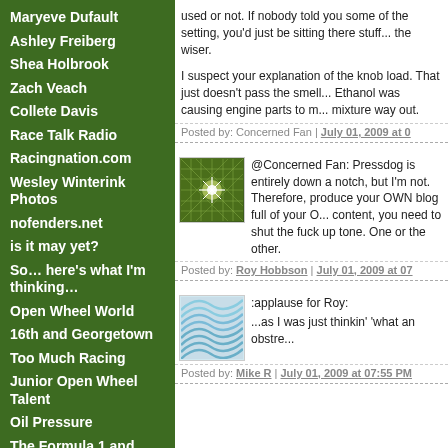Maryeve Dufault
Ashley Freiberg
Shea Holbrook
Zach Veach
Collete Davis
Race Talk Radio
Racingnation.com
Wesley Winterink Photos
nofenders.net
is it may yet?
So… here's what I'm thinking…
Open Wheel World
16th and Georgetown
Too Much Racing
Junior Open Wheel Talent
Oil Pressure
The Formula 1 and Motorsports Archive
used or not. If nobody told you some of the setting, you'd just be sitting there stuff... the wiser.
I suspect your explanation of the knob load. That just doesn't pass the smell... Ethanol was causing engine parts to m... mixture way out.
Posted by: Concerned Fan | July 01, 2009 at 0...
[Figure (illustration): Green geometric grid avatar with white starburst pattern]
@Concerned Fan: Pressdog is entirely down a notch, but I'm not. Therefore, produce your OWN blog full of your O... content, you need to shut the fuck up tone. One or the other.
Posted by: Roy Hobbson | July 01, 2009 at 07...
[Figure (illustration): Blue curved lines wave pattern avatar]
:applause for Roy:
...as I was just thinkin' 'what an obstre...
Posted by: Mike R | July 01, 2009 at 07:55 PM